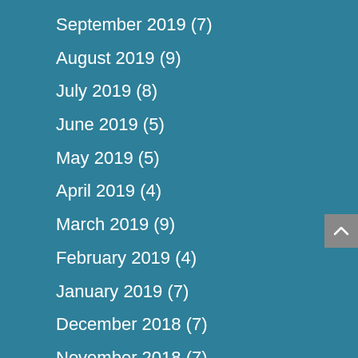September 2019 (7)
August 2019 (9)
July 2019 (8)
June 2019 (5)
May 2019 (5)
April 2019 (4)
March 2019 (9)
February 2019 (4)
January 2019 (7)
December 2018 (7)
November 2018 (7)
October 2018 (7)
September 2018 (7)
August 2018 (6)
July 2018 (9)